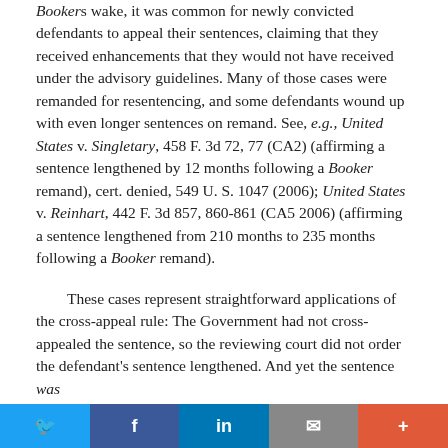Booker's wake, it was common for newly convicted defendants to appeal their sentences, claiming that they received enhancements that they would not have received under the advisory guidelines. Many of those cases were remanded for resentencing, and some defendants wound up with even longer sentences on remand. See, e.g., United States v. Singletary, 458 F. 3d 72, 77 (CA2) (affirming a sentence lengthened by 12 months following a Booker remand), cert. denied, 549 U. S. 1047 (2006); United States v. Reinhart, 442 F. 3d 857, 860-861 (CA5 2006) (affirming a sentence lengthened from 210 months to 235 months following a Booker remand).
These cases represent straightforward applications of the cross-appeal rule: The Government had not cross-appealed the sentence, so the reviewing court did not order the defendant's sentence lengthened. And yet the sentence was